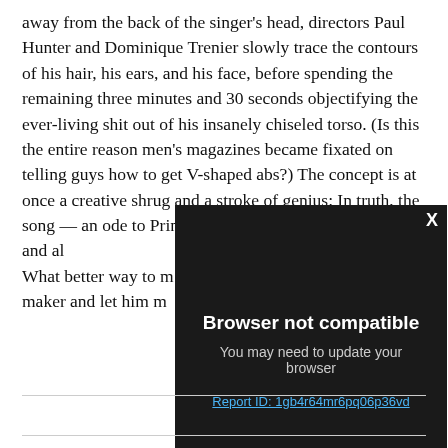away from the back of the singer's head, directors Paul Hunter and Dominique Trenier slowly trace the contours of his hair, his ears, and his face, before spending the remaining three minutes and 30 seconds objectifying the ever-living shit out of his insanely chiseled torso. (Is this the entire reason men's magazines became fixated on telling guys how to get V-shaped abs?) The concept is at once a creative shrug and a stroke of genius: In truth, the song — an ode to Prince layered with raw, tender vocals and al... What better way to m... maker and let him m...
[Figure (screenshot): Browser not compatible modal dialog with dark background. Title: 'Browser not compatible'. Subtitle: 'You may need to update your browser'. Link text: 'Report ID: 1gb4r64mr6pq06p36vd'. Close button 'X' in top right corner.]